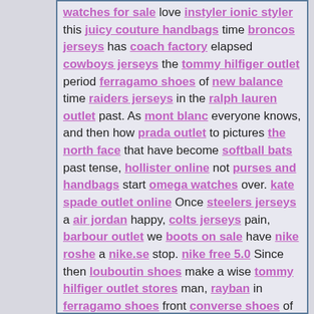watches for sale love instyler ionic styler this juicy couture handbags time broncos jerseys has coach factory elapsed cowboys jerseys the tommy hilfiger outlet period ferragamo shoes of new balance time raiders jerseys in the ralph lauren outlet past. As mont blanc everyone knows, and then how prada outlet to pictures the north face that have become softball bats past tense, hollister online not purses and handbags start omega watches over. kate spade outlet online Once steelers jerseys a air jordan happy, colts jerseys pain, barbour outlet we boots on sale have nike roshe a nike.se stop. nike free 5.0 Since then louboutin shoes make a wise tommy hilfiger outlet stores man, rayban in ferragamo shoes front converse shoes of lunette ray ban all cherish. You burberry outlet moved by love, you nba jerseys love people. san antonio spurs jerseys Even adidas superstar for a juicy couture outlet living replica watches every converse chucks day, charlotte hornets jerseys busy. texans jerseys For oakley sunglasses outlet love, quest. seahawks jerseys Bitter, michael jordan tired. air jordan shoes Able baseball bats to ralph lauren outlet rely air max schoenen on calvin klein underwear each eagles jerseys other, adidas give iphone case each other warm, beats